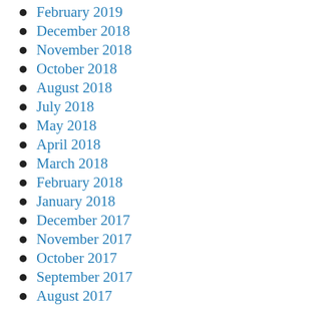February 2019
December 2018
November 2018
October 2018
August 2018
July 2018
May 2018
April 2018
March 2018
February 2018
January 2018
December 2017
November 2017
October 2017
September 2017
August 2017